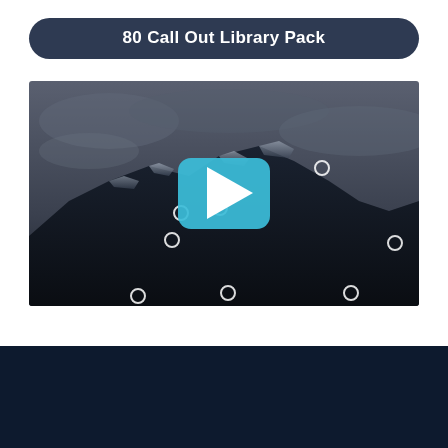80 Call Out Library Pack
[Figure (screenshot): Video thumbnail showing a dark mountainous landscape with a bright teal play button overlay and several small white circular call-out markers scattered across the frame.]